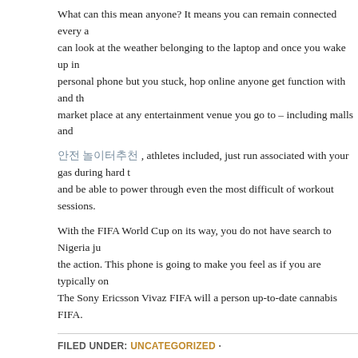What can this mean anyone? It means you can remain connected every a can look at the weather belonging to the laptop and once you wake up in personal phone but you stuck, hop online anyone get function with and th market place at any entertainment venue you go to – including malls and
안전 놀이터추천 , athletes included, just run associated with your gas during hard t and be able to power through even the most difficult of workout sessions.
With the FIFA World Cup on its way, you do not have search to Nigeria ju the action. This phone is going to make you feel as if you are typically on The Sony Ericsson Vivaz FIFA will a person up-to-date cannabis FIFA.
FILED UNDER: UNCATEGORIZED ·
Playing Baccarat To Win
MAY 30, 2022 BY ADMIN ·
Research plays a major factor to get a good winning average in sports be period to do the necessary research and analysis, then your best option w sports betting system. Theres whole lot of betting systems available in n